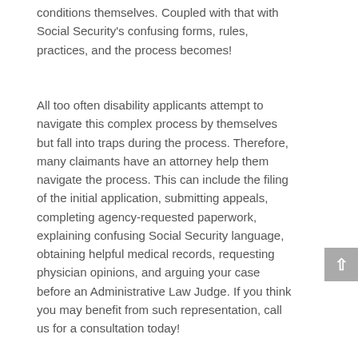conditions themselves. Coupled with that with Social Security's confusing forms, rules, practices, and the process becomes!
All too often disability applicants attempt to navigate this complex process by themselves but fall into traps during the process. Therefore, many claimants have an attorney help them navigate the process. This can include the filing of the initial application, submitting appeals, completing agency-requested paperwork, explaining confusing Social Security language, obtaining helpful medical records, requesting physician opinions, and arguing your case before an Administrative Law Judge. If you think you may benefit from such representation, call us for a consultation today!